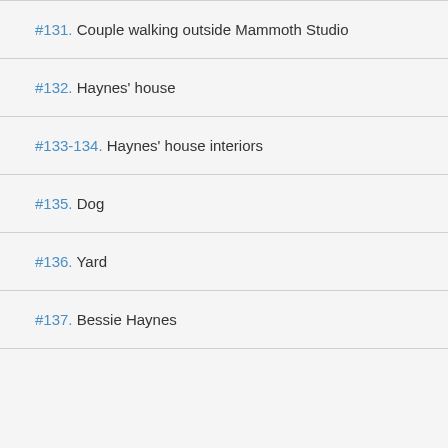#131. Couple walking outside Mammoth Studio
#132. Haynes' house
#133-134. Haynes' house interiors
#135. Dog
#136. Yard
#137. Bessie Haynes